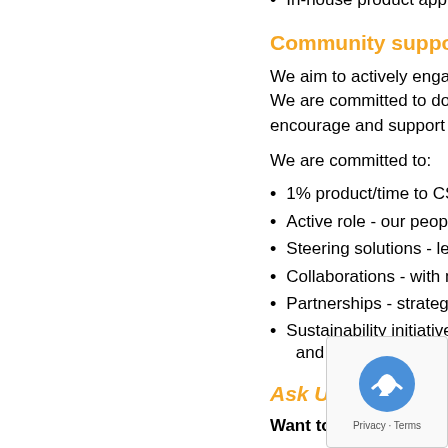Technical support
In-house product applicatio…
Community support
We aim to actively engage with… We are committed to donating… encourage and support our p…
We are committed to:
1% product/time to CSR & …
Active role - our people
Steering solutions - leadin…
Collaborations - with manu…
Partnerships - strategic an…
Sustainability initiatives - w… and upcycling to reduce la…
Ask Us!
Want to know more about our…
Contact John Wrigh…